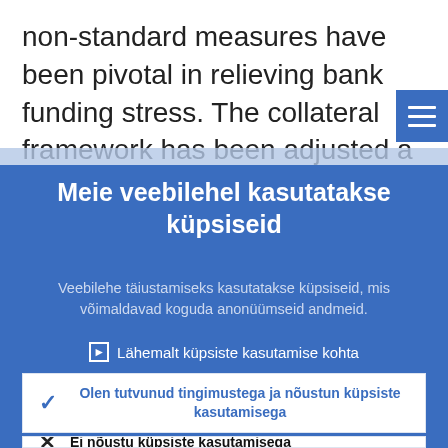non-standard measures have been pivotal in relieving bank funding stress. The collateral framework has been adjusted a necessary to ensure continued adequate...
Meie veebilehel kasutatakse küpsiseid
Veebilehe täiustamiseks kasutatakse küpsiseid, mis võimaldavad koguda anonüümseid andmeid.
▸ Lähemalt küpsiste kasutamise kohta
✓ Olen tutvunud tingimustega ja nõustun küpsiste kasutamisega
✗ Ei nõustu küpsiste kasutamisega